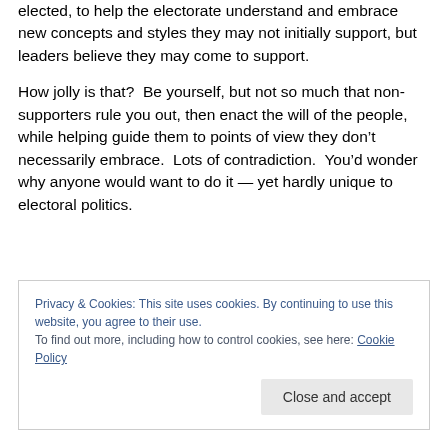elected, to help the electorate understand and embrace new concepts and styles they may not initially support, but leaders believe they may come to support.
How jolly is that?  Be yourself, but not so much that non-supporters rule you out, then enact the will of the people, while helping guide them to points of view they don't necessarily embrace.  Lots of contradiction.  You'd wonder why anyone would want to do it — yet hardly unique to electoral politics.
Privacy & Cookies: This site uses cookies. By continuing to use this website, you agree to their use. To find out more, including how to control cookies, see here: Cookie Policy
Close and accept